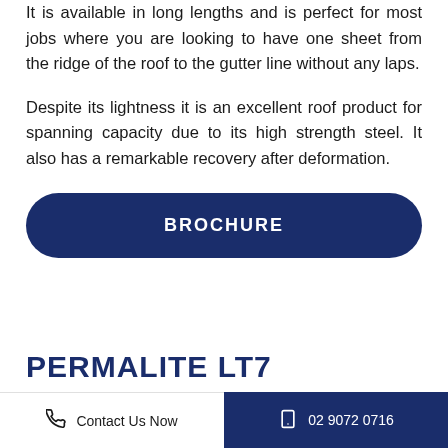It is available in long lengths and is perfect for most jobs where you are looking to have one sheet from the ridge of the roof to the gutter line without any laps.
Despite its lightness it is an excellent roof product for spanning capacity due to its high strength steel. It also has a remarkable recovery after deformation.
BROCHURE
PERMALITE LT7
Contact Us Now | 02 9072 0716